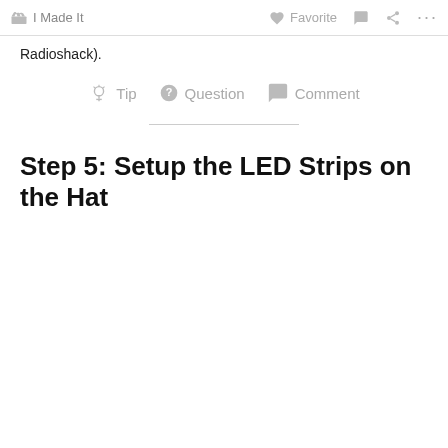I Made It   Favorite   Comment   Share   ...
Radioshack).
Tip   Question   Comment
Step 5: Setup the LED Strips on the Hat